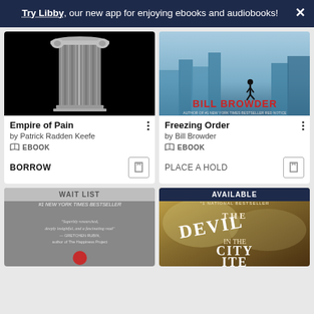Try Libby, our new app for enjoying ebooks and audiobooks!
[Figure (screenshot): Book card for Empire of Pain by Patrick Radden Keefe - ebook, with BORROW button]
[Figure (screenshot): Book card for Freezing Order by Bill Browder - ebook, with PLACE A HOLD button]
[Figure (screenshot): Bottom book card with WAIT LIST status banner]
[Figure (screenshot): Bottom book card for The Devil in the White City with AVAILABLE status banner]